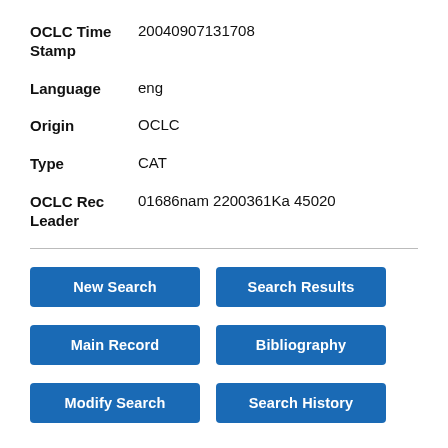OCLC Time Stamp: 20040907131708
Language: eng
Origin: OCLC
Type: CAT
OCLC Rec Leader: 01686nam 2200361Ka 45020
New Search
Search Results
Main Record
Bibliography
Modify Search
Search History